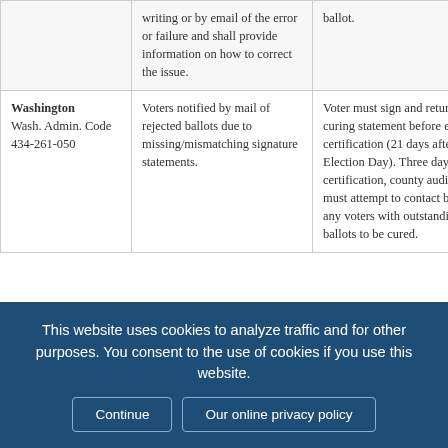|  | writing or by email of the error or failure and shall provide information on how to correct the issue. | ballot. |
| Washington
Wash. Admin. Code 434-261-050 | Voters notified by mail of rejected ballots due to missing/mismatching signature statements. | Voter must sign and return a curing statement before election certification (21 days after Election Day). Three days before certification, county auditors must attempt to contact by phone any voters with outstanding ballots to be cured. |
This website uses cookies to analyze traffic and for other purposes. You consent to the use of cookies if you use this website. Continue | Our online privacy policy